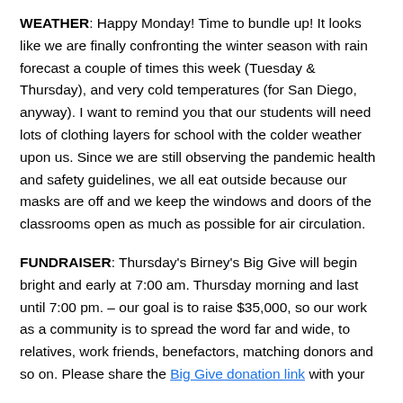WEATHER: Happy Monday! Time to bundle up! It looks like we are finally confronting the winter season with rain forecast a couple of times this week (Tuesday & Thursday), and very cold temperatures (for San Diego, anyway). I want to remind you that our students will need lots of clothing layers for school with the colder weather upon us. Since we are still observing the pandemic health and safety guidelines, we all eat outside because our masks are off and we keep the windows and doors of the classrooms open as much as possible for air circulation.
FUNDRAISER: Thursday's Birney's Big Give will begin bright and early at 7:00 am. Thursday morning and last until 7:00 pm. – our goal is to raise $35,000, so our work as a community is to spread the word far and wide, to relatives, work friends, benefactors, matching donors and so on. Please share the Big Give donation link with your